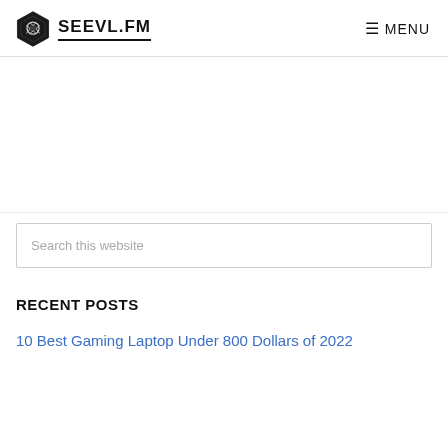SEEVL.FM  MENU
[Figure (logo): SEEVL.FM logo with hexagon icon on the left and MENU navigation on the right]
Search this website
RECENT POSTS
10 Best Gaming Laptop Under 800 Dollars of 2022